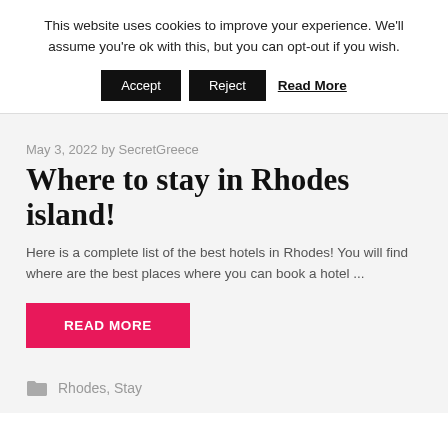This website uses cookies to improve your experience. We'll assume you're ok with this, but you can opt-out if you wish.
Accept  Reject  Read More
May 3, 2022 by SecretGreece
Where to stay in Rhodes island!
Here is a complete list of the best hotels in Rhodes! You will find where are the best places where you can book a hotel ...
READ MORE
Rhodes, Stay